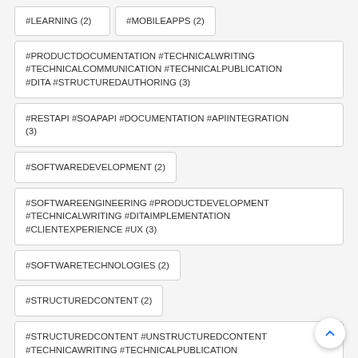#LEARNING (2)
#MOBILEAPPS (2)
#PRODUCTDOCUMENTATION #TECHNICALWRITING #TECHNICALCOMMUNICATION #TECHNICALPUBLICATION #DITA #STRUCTUREDAUTHORING (3)
#RESTAPI #SOAPAPI #DOCUMENTATION #APIINTEGRATION (3)
#SOFTWAREDEVELOPMENT (2)
#SOFTWAREENGINEERING #PRODUCTDEVELOPMENT #TECHNICALWRITING #DITAIMPLEMENTATION #CLIENTEXPERIENCE #UX (3)
#SOFTWARETECHNOLOGIES (2)
#STRUCTUREDCONTENT (2)
#STRUCTUREDCONTENT #UNSTRUCTUREDCONTENT #TECHNICAWRITING #TECHNICALPUBLICATION #CONTENTMIGRATION (19)
#SWAGGERHUB (2)
#TECHNICALCOMMUNICATION #TECHNICALPUBLICATION #DOCUMENTATIONMANAGERS #USERGUIDE #USERMANUALS #OPERATORMANUALS #STRUCTUREDAUTHORING #S1000D #APIDOCUMENTATION